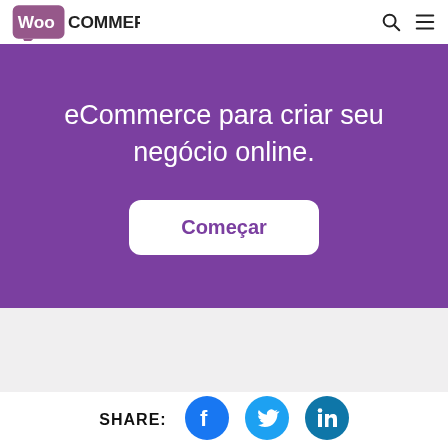[Figure (logo): WooCommerce logo with purple speech bubble icon and bold text 'WooCommerce']
eCommerce para criar seu negócio online.
Começar
SHARE:
[Figure (illustration): Facebook circle icon in blue]
[Figure (illustration): Twitter circle icon in light blue]
[Figure (illustration): LinkedIn circle icon in teal]